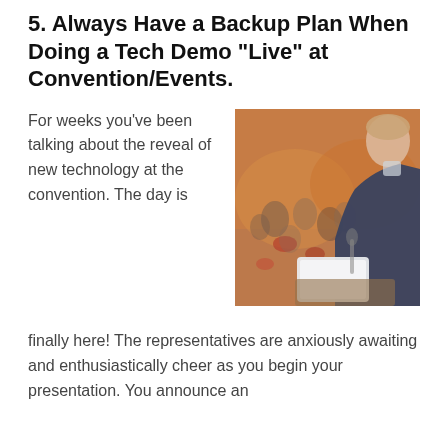5. Always Have a Backup Plan When Doing a Tech Demo "Live" at Convention/Events.
For weeks you've been talking about the reveal of new technology at the convention. The day is
[Figure (photo): A speaker at a podium viewed from behind, facing a blurred audience in a conference hall. A laptop screen is visible in front of the speaker.]
finally here! The representatives are anxiously awaiting and enthusiastically cheer as you begin your presentation. You announce an